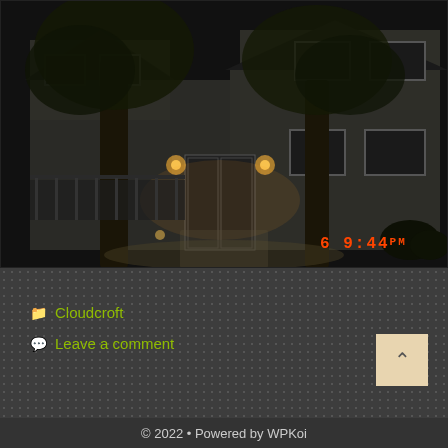[Figure (photo): Night-time photograph of a house exterior with porch lights on, large trees in foreground, two-story structure visible. Timestamp overlay reads '6   9:44PM' in orange text at bottom right.]
Cloudcroft
Leave a comment
© 2022 • Powered by WPKoi